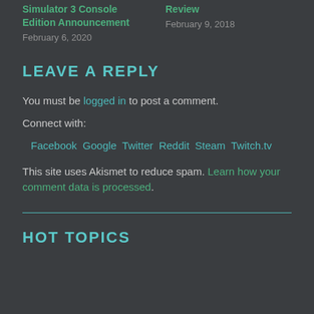Simulator 3 Console Edition Announcement
February 6, 2020
Review
February 9, 2018
LEAVE A REPLY
You must be logged in to post a comment.
Connect with:
Facebook Google Twitter Reddit Steam Twitch.tv
This site uses Akismet to reduce spam. Learn how your comment data is processed.
HOT TOPICS